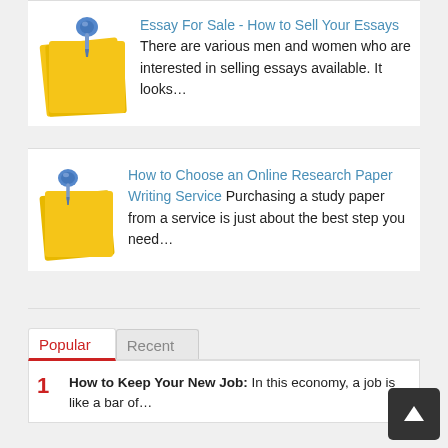[Figure (illustration): Yellow sticky note with blue thumbtack, for Essay For Sale article]
Essay For Sale - How to Sell Your Essays There are various men and women who are interested in selling essays available. It looks…
[Figure (illustration): Yellow sticky note with blue thumbtack, for How to Choose an Online Research Paper Writing Service article]
How to Choose an Online Research Paper Writing Service Purchasing a study paper from a service is just about the best step you need…
Popular | Recent
1 How to Keep Your New Job: In this economy, a job is like a bar of…